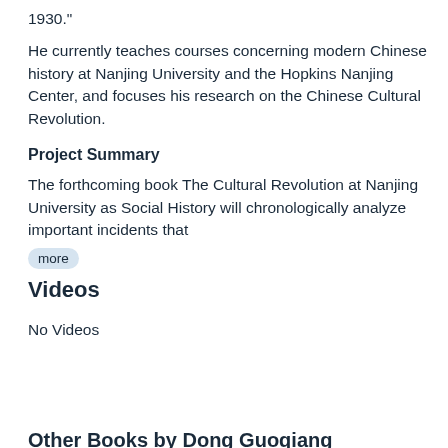1930."
He currently teaches courses concerning modern Chinese history at Nanjing University and the Hopkins Nanjing Center, and focuses his research on the Chinese Cultural Revolution.
Project Summary
The forthcoming book The Cultural Revolution at Nanjing University as Social History will chronologically analyze important incidents that
more
Videos
No Videos
Other Books by Dong Guoqiang